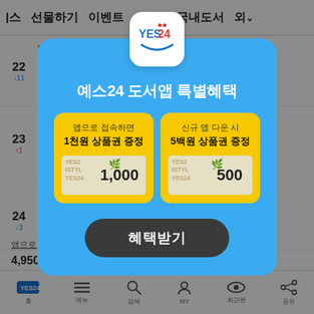스 선물하기 이벤트 홈 국내도서 외
[Figure (screenshot): YES24 mobile app screenshot showing a book ranking list with items 22, 23, 24 visible in the background]
[Figure (infographic): YES24 도서앱 특별혜택 modal popup. Contains YES24 logo at top, title '예스24 도서앱 특별혜택', two yellow cards: left card '앱으로 접속하면 1천원 상품권 증정' with voucher showing 1,000, right card '신규 앱 다운 시 5백원 상품권 증정' with voucher showing 500, and a '혜택받기' button.]
4,950원 (10% 할)
앱으로 결제하시면 추가할인혜택 있어요.
YES24 홈 메뉴 검색 MY 최근본 공유